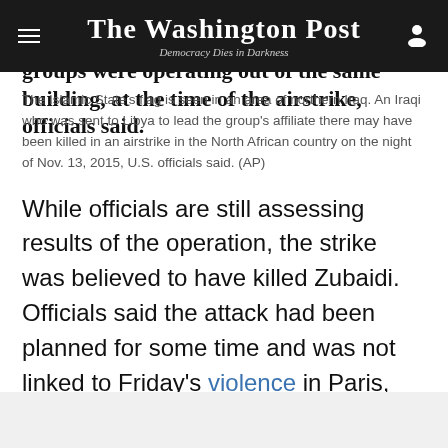The Washington Post — Democracy Dies in Darkness
compound suicide bombing of militants' stronghold in western Libya — the two groups were operating out of the same building, at the time of the airstrike, officials said.
The Islamic State's flag is seen in an area of northern Iraq. An Iraqi who was sent to Libya to lead the group's affiliate there may have been killed in an airstrike in the North African country on the night of Nov. 13, 2015, U.S. officials said. (AP)
While officials are still assessing results of the operation, the strike was believed to have killed Zubaidi. Officials said the attack had been planned for some time and was not linked to Friday's violence in Paris, which killed at least 129 people and was among the worst terrorist attacks on Western soil since Sept. 11, 2001.